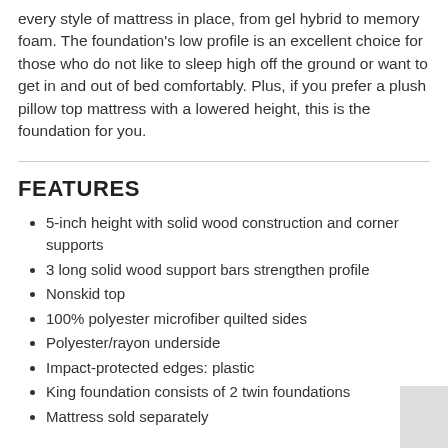every style of mattress in place, from gel hybrid to memory foam. The foundation's low profile is an excellent choice for those who do not like to sleep high off the ground or want to get in and out of bed comfortably. Plus, if you prefer a plush pillow top mattress with a lowered height, this is the foundation for you.
FEATURES
5-inch height with solid wood construction and corner supports
3 long solid wood support bars strengthen profile
Nonskid top
100% polyester microfiber quilted sides
Polyester/rayon underside
Impact-protected edges: plastic
King foundation consists of 2 twin foundations
Mattress sold separately